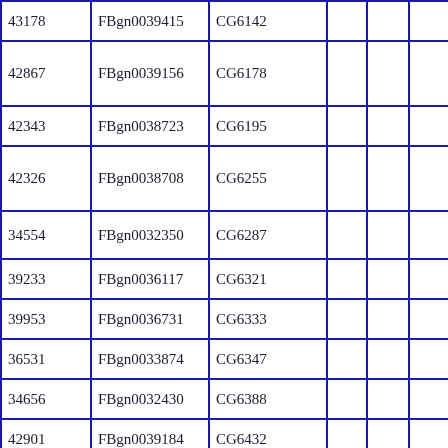| 43178 | FBgn0039415 | CG6142 |  |  |  |
| 42867 | FBgn0039156 | CG6178 |  |  |  |
| 42343 | FBgn0038723 | CG6195 |  |  |  |
| 42326 | FBgn0038708 | CG6255 |  |  |  |
| 34554 | FBgn0032350 | CG6287 |  |  |  |
| 39233 | FBgn0036117 | CG6321 |  |  |  |
| 39953 | FBgn0036731 | CG6333 |  |  |  |
| 36531 | FBgn0033874 | CG6347 |  |  |  |
| 34656 | FBgn0032430 | CG6388 |  |  |  |
| 42901 | FBgn0039184 | CG6432 |  |  |  |
| 35056 | FBgn0032643 | CG6453 |  |  |  |
|  |  |  |  |  |  |